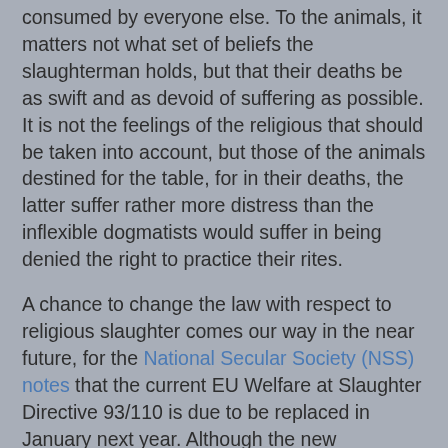consumed by everyone else. To the animals, it matters not what set of beliefs the slaughterman holds, but that their deaths be as swift and as devoid of suffering as possible. It is not the feelings of the religious that should be taken into account, but those of the animals destined for the table, for in their deaths, the latter suffer rather more distress than the inflexible dogmatists would suffer in being denied the right to practice their rites.
A chance to change the law with respect to religious slaughter comes our way in the near future, for the National Secular Society (NSS) notes that the current EU Welfare at Slaughter Directive 93/110 is due to be replaced in January next year. Although the new Regulation 1099/2009 will allow for exemptions for religious slaughter to continue, it also offers the opportunity to end them. The NSS is thus urging people who oppose this practice to write to their MPs in an effort to have their opinions taken into account in the Westminster consultation exercise that will take place in the coming months. NSS blog contributor Stephen Evans has written an interesting piece about this, linking it to ANSA's recent campaign involving incorrectly labelled 'halal' meat in